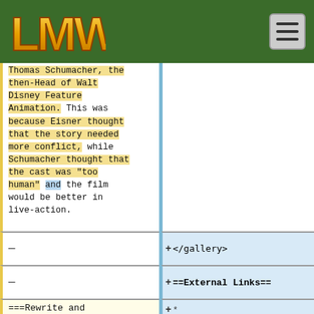LMW logo and navigation header
Thomas Schumacher, the then-Head of Walt Disney Feature Animation. This was because Eisner thought that the story needed more conflict, while Schumacher thought that the cast was "too human" and the film would be better in live-action.
</gallery>
==External Links==
===Rewrite and Greenlighting===
* [http://disney.wikia.com/wiki/My_Peoples The Disney Wiki's article